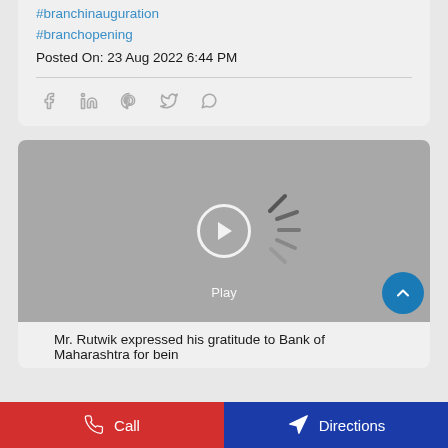#branchinauguration
#branchopening
Posted On: 23 Aug 2022 6:44 PM
[Figure (other): Social media share icons: Facebook, LinkedIn, Pinterest, Twitter, WhatsApp]
[Figure (screenshot): Video player with play button and loading spinner, showing a grey placeholder. Play label visible.]
Mr. Rutwik expressed his gratitude to Bank of Maharashtra for bein
Call
Directions